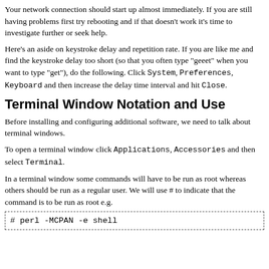Your network connection should start up almost immediately. If you are still having problems first try rebooting and if that doesn't work it's time to investigate further or seek help.
Here's an aside on keystroke delay and repetition rate. If you are like me and find the keystroke delay too short (so that you often type "geeet" when you want to type "get"), do the following. Click System, Preferences, Keyboard and then increase the delay time interval and hit Close.
Terminal Window Notation and Use
Before installing and configuring additional software, we need to talk about terminal windows.
To open a terminal window click Applications, Accessories and then select Terminal.
In a terminal window some commands will have to be run as root whereas others should be run as a regular user. We will use # to indicate that the command is to be run as root e.g.
# perl -MCPAN -e shell